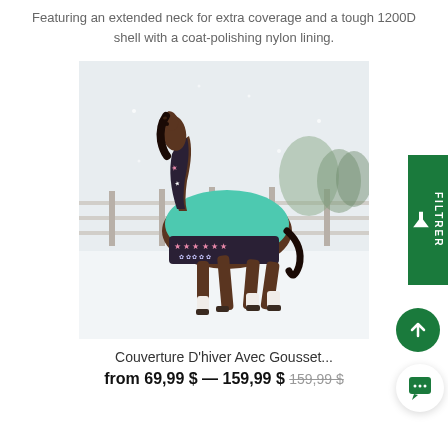Featuring an extended neck for extra coverage and a tough 1200D shell with a coat-polishing nylon lining.
[Figure (photo): A horse wearing a teal/mint winter blanket with a dark patterned neck cover, running through a snowy paddock with wooden fences in the background.]
Couverture D'hiver Avec Gousset...
from 69,99 $ — 159,99 $ 159,99 $